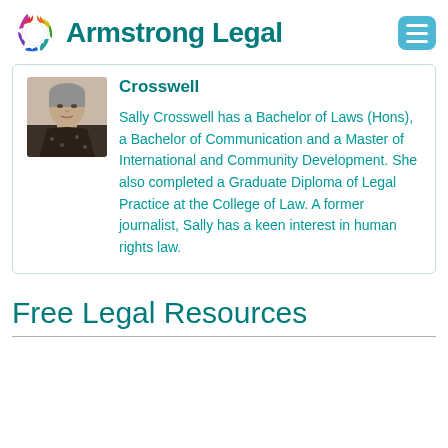Armstrong Legal
Crosswell
[Figure (photo): Portrait photo of Sally Crosswell, a woman with short grey hair wearing a dark patterned top]
Sally Crosswell has a Bachelor of Laws (Hons), a Bachelor of Communication and a Master of International and Community Development. She also completed a Graduate Diploma of Legal Practice at the College of Law. A former journalist, Sally has a keen interest in human rights law.
Free Legal Resources